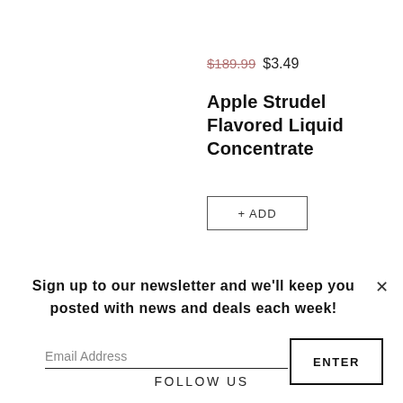$189.99  $3.49
Apple Strudel Flavored Liquid Concentrate
+ ADD
Sign up to our newsletter and we'll keep you posted with news and deals each week!
Email Address
ENTER
FOLLOW US